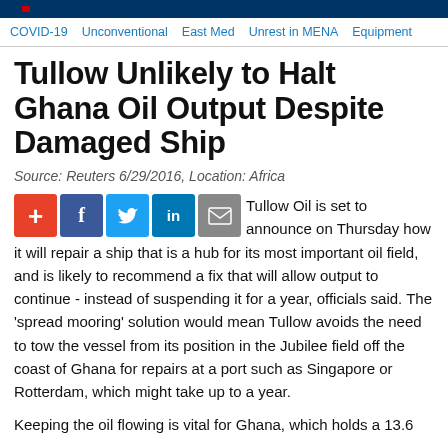COVID-19 | Unconventional | East Med | Unrest in MENA | Equipment
Tullow Unlikely to Halt Ghana Oil Output Despite Damaged Ship
Source: Reuters 6/29/2016, Location: Africa
Tullow Oil is set to announce on Thursday how it will repair a ship that is a hub for its most important oil field, and is likely to recommend a fix that will allow output to continue - instead of suspending it for a year, officials said. The 'spread mooring' solution would mean Tullow avoids the need to tow the vessel from its position in the Jubilee field off the coast of Ghana for repairs at a port such as Singapore or Rotterdam, which might take up to a year.
Keeping the oil flowing is vital for Ghana, which holds a 13.6